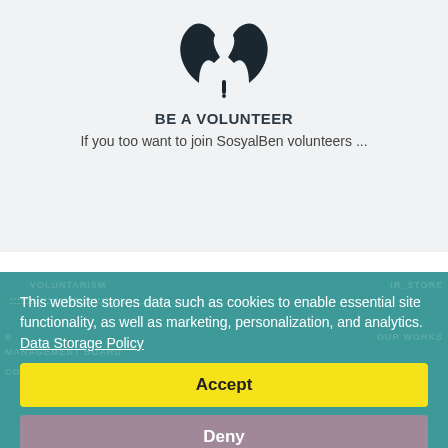[Figure (logo): SosyalBen volunteer hands/heart logo in black on light gray background]
BE A VOLUNTEER
If you too want to join SosyalBen volunteers ...
This website stores data such as cookies to enable essential site functionality, as well as marketing, personalization, and analytics. Data Storage Policy
Accept
Deny